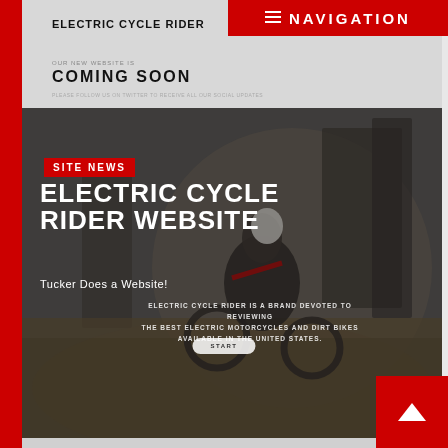NAVIGATION
ELECTRIC CYCLE RIDER
COMING SOON
PLEASE FOLLOW US ON TWITTER TO RECEIVE ALL OUR SOCIAL UPDATES
[Figure (photo): Motorcycle rider on electric dirt bike riding through field, dark atmospheric photo]
SITE NEWS
ELECTRIC CYCLE RIDER WEBSITE
Tucker Does a Website!
ELECTRIC CYCLE RIDER IS A BRAND DEVOTED TO REVIEWING THE BEST ELECTRIC MOTORCYCLES AND DIRT BIKES AVAILABLE IN THE UNITED STATES.
START